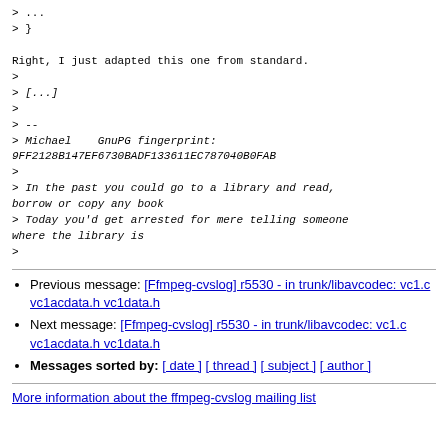> ...
> }

Right, I just adapted this one from standard.
>
> [...]
>
> --
> Michael    GnuPG fingerprint:
9FF2128B147EF6730BADF133611EC787040B0FAB
>
> In the past you could go to a library and read, borrow or copy any book
> Today you'd get arrested for mere telling someone where the library is
>
Previous message: [Ffmpeg-cvslog] r5530 - in trunk/libavcodec: vc1.c vc1acdata.h vc1data.h
Next message: [Ffmpeg-cvslog] r5530 - in trunk/libavcodec: vc1.c vc1acdata.h vc1data.h
Messages sorted by: [ date ] [ thread ] [ subject ] [ author ]
More information about the ffmpeg-cvslog mailing list